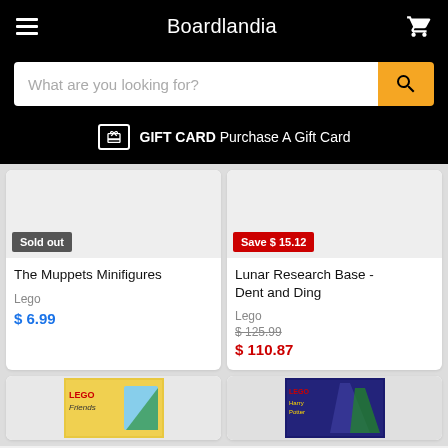Boardlandia
What are you looking for?
GIFT CARD Purchase A Gift Card
[Figure (screenshot): Product card: The Muppets Minifigures, Lego, $6.99, Sold out badge]
[Figure (screenshot): Product card: Lunar Research Base - Dent and Ding, Lego, originally $125.99 now $110.87, Save $15.12 badge]
[Figure (screenshot): Partial product card: Lego Friends box visible at bottom]
[Figure (screenshot): Partial product card: Lego Harry Potter box visible at bottom]